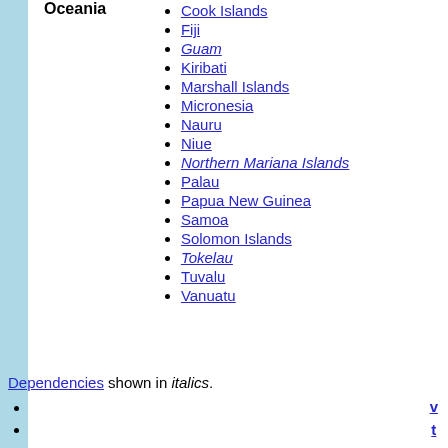| Region | Countries/Territories |
| --- | --- |
| Oceania | Cook Islands, Fiji, Guam, Kiribati, Marshall Islands, Micronesia, Nauru, Niue, Northern Mariana Islands, Palau, Papua New Guinea, Samoa, Solomon Islands, Tokelau, Tuvalu, Vanuatu |
Dependencies shown in italics.
Countries and territories of Africa
Algeria